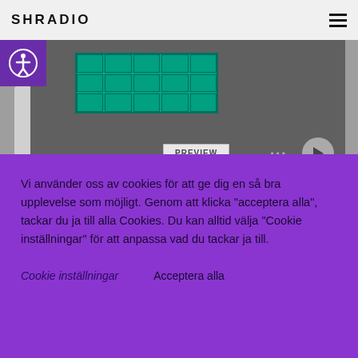SHRADIO
[Figure (screenshot): Website screenshot with cookie consent overlay on SHRADIO. Shows a media preview area with green grid pattern, a purple cookie consent dialog, social sharing buttons (Facebook, Twitter, Follow us), tags (livsstil, rädsla, snack), and bottom navigation (Previous post / Next post).]
Vi använder oss av cookies för att ge dig en så bra upplevelse som möjligt. Genom att klicka "acceptera alla", tackar du ja till alla Cookies. Du kan alltid välja "Cookie inställningar" för att anpassa vad du tackar ja till.
Cookie inställningar
Acceptera alla
livsstil  rädsla  snack
Previous post    Next post